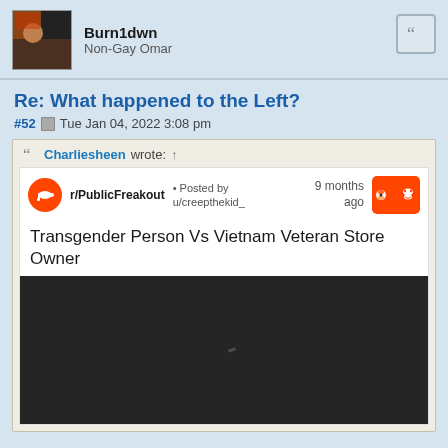Burn1dwn
Non-Gay Omar
Re: What happened to the Left?
#52 Tue Jan 04, 2022 3:08 pm
Charliesheen wrote: ↑
[Figure (screenshot): Embedded Reddit post screenshot from r/PublicFreakout. Posted by u/creepthekid_, 9 months ago. Title: 'Transgender Person Vs Vietnam Veteran Store Owner'. Includes a dark video thumbnail with Reddit branding and an award icon.]